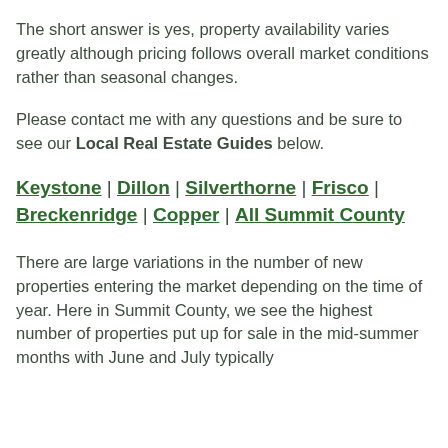The short answer is yes, property availability varies greatly although pricing follows overall market conditions rather than seasonal changes.
Please contact me with any questions and be sure to see our Local Real Estate Guides below.
Keystone | Dillon | Silverthorne | Frisco | Breckenridge | Copper | All Summit County
There are large variations in the number of new properties entering the market depending on the time of year. Here in Summit County, we see the highest number of properties put up for sale in the mid-summer months with June and July typically